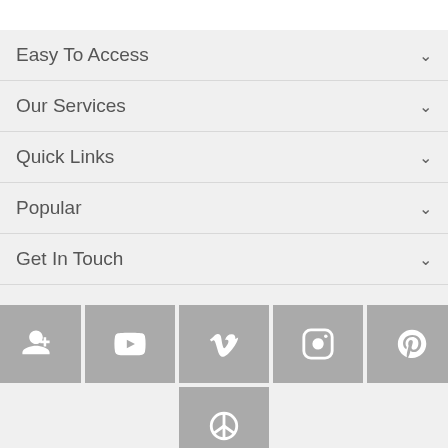Easy To Access
Our Services
Quick Links
Popular
Get In Touch
[Figure (infographic): Row of social media icon buttons: Twitter, Facebook, Google+, YouTube, Vimeo, Instagram, Pinterest, LinkedIn, VK, and a peace/Tumblr icon below Vimeo]